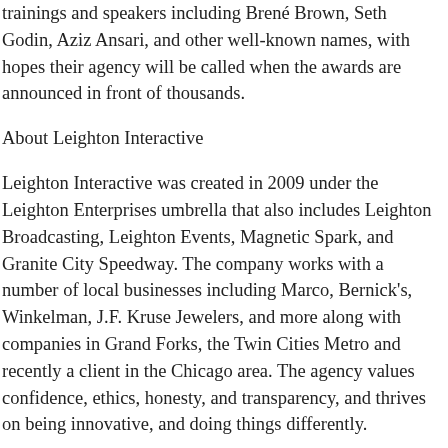trainings and speakers including Brené Brown, Seth Godin, Aziz Ansari, and other well-known names, with hopes their agency will be called when the awards are announced in front of thousands.
About Leighton Interactive
Leighton Interactive was created in 2009 under the Leighton Enterprises umbrella that also includes Leighton Broadcasting, Leighton Events, Magnetic Spark, and Granite City Speedway. The company works with a number of local businesses including Marco, Bernick's, Winkelman, J.F. Kruse Jewelers, and more along with companies in Grand Forks, the Twin Cities Metro and recently a client in the Chicago area. The agency values confidence, ethics, honesty, and transparency, and thrives on being innovative, and doing things differently.